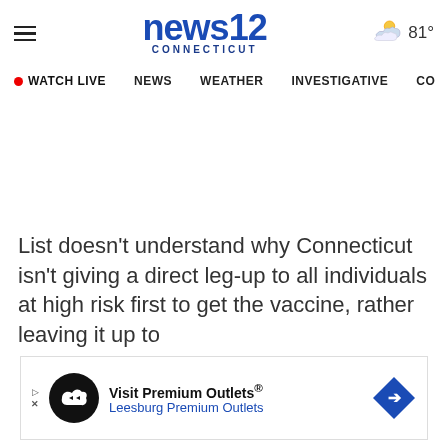news12 CONNECTICUT
WATCH LIVE  NEWS  WEATHER  INVESTIGATIVE  CO
List doesn't understand why Connecticut isn't giving a direct leg-up to all individuals at high risk first to get the vaccine, rather leaving it up to
[Figure (illustration): Advertisement banner for Visit Premium Outlets / Leesburg Premium Outlets with logo, play button, and diamond arrow icon]